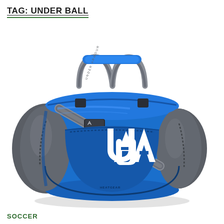TAG: UNDER BALL
[Figure (photo): Blue and gray Under Armour duffle sports bag with white Under Armour logo on the front pocket, gray handles and shoulder strap, photographed on a white background.]
SOCCER